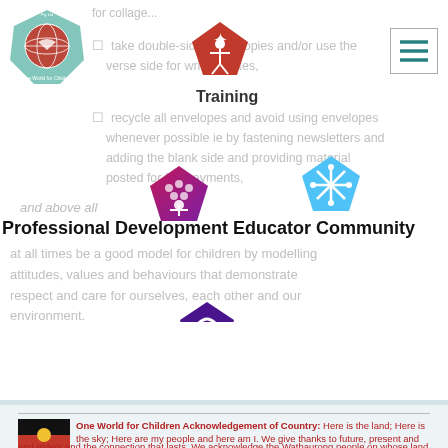[Figure (logo): One World for Children Pty Ltd circular logo with globe, top-left]
[Figure (illustration): Red pentagon icon with figure raising arms (Training nav icon)]
Training
for collage...
take double-side photocopies and/or use the verse side for written notes,
recycle all envelopes and avoid using envelopes whenever possible ie by fastening newsletters and adding the blank side and providing material posted for fee payments,
and above all
Professional Development Educator Community
at all times be a good model for children by modelling attitudes, values and behaviours that demonstrate respect and care for ourselves, each other and our environment.
Contact Us
Login
January 1991
Revised March, 2003
[Figure (illustration): Aboriginal flag - black top half, red bottom half, yellow circle in center]
One World for Children Acknowledgement of Country: Here is the land; Here is the sky; Here are my people and here am I. We give thanks to future, present and past; Ancestors and elders and the connection that lasts. We acknowledge the Wathaurong people on whose land we learn and play. We promise to look after it every day.